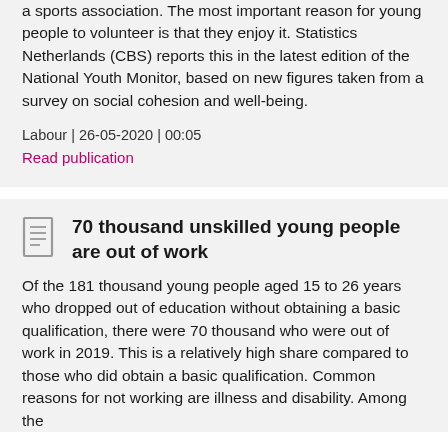a sports association. The most important reason for young people to volunteer is that they enjoy it. Statistics Netherlands (CBS) reports this in the latest edition of the National Youth Monitor, based on new figures taken from a survey on social cohesion and well-being.
Labour | 26-05-2020 | 00:05
Read publication
70 thousand unskilled young people are out of work
Of the 181 thousand young people aged 15 to 26 years who dropped out of education without obtaining a basic qualification, there were 70 thousand who were out of work in 2019. This is a relatively high share compared to those who did obtain a basic qualification. Common reasons for not working are illness and disability. Among the